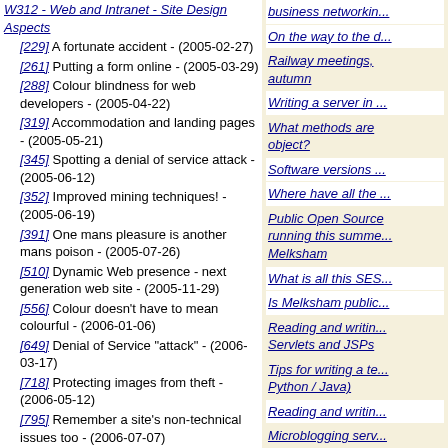[229] A fortunate accident - (2005-02-27)
[261] Putting a form online - (2005-03-29)
[288] Colour blindness for web developers - (2005-04-22)
[319] Accommodation and landing pages - (2005-05-21)
[345] Spotting a denial of service attack - (2005-06-12)
[352] Improved mining techniques! - (2005-06-19)
[391] One mans pleasure is another mans poison - (2005-07-26)
[510] Dynamic Web presence - next generation web site - (2005-11-29)
[556] Colour doesn't have to mean colourful - (2006-01-06)
[649] Denial of Service "attack" - (2006-03-17)
[718] Protecting images from theft - (2006-05-12)
[795] Remember a site's non-technical issues too - (2006-07-07)
[823] An excellent use for a visitor count? - (2006-08-05)
[859] Put the answer in context - it may be printed - (2006-09-08)
[918] Databases needn't be frightening, hard or expensive - (2006-11-08)
[1015] Search engine placement - long term strategy and success - (2006-12-30)
[1047] Maintainable code - some positive advice - (2007-01-21)
[1054] UK legal requirements for your commercial web site - (2007-01-27)
[1353] Mood shots - (2007-09-16)
[1598] Every link has two ends - fixing 404s at the
business networking
On the way to the d
Railway meetings, autumn
Writing a server in
What methods are object?
Software versions
Where have all the
Public Open Source running this summer Melksham
What is all this SES
Is Melksham public
Reading and writing Servlets and JSPs
Tips for writing a te Python / Java)
Reading and writing
Microblogging serv and more
Tuning the web site this year
Global and Enable
Blogging